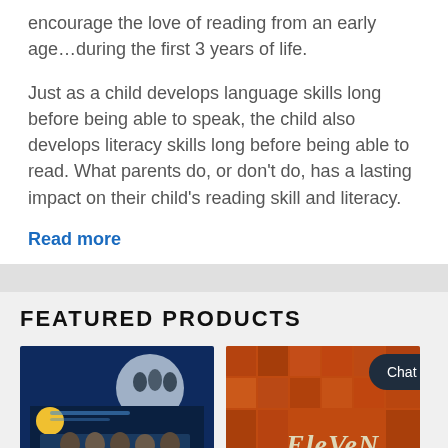encourage the love of reading from an early age…during the first 3 years of life.
Just as a child develops language skills long before being able to speak, the child also develops literacy skills long before being able to read. What parents do, or don't do, has a lasting impact on their child's reading skill and literacy.
Read more
FEATURED PRODUCTS
[Figure (photo): Book cover with dark blue background, showing children and a circular moon-like graphic. True story book cover.]
[Figure (photo): Book cover with orange/red background, showing the title 'EleVeN' in stylized text.]